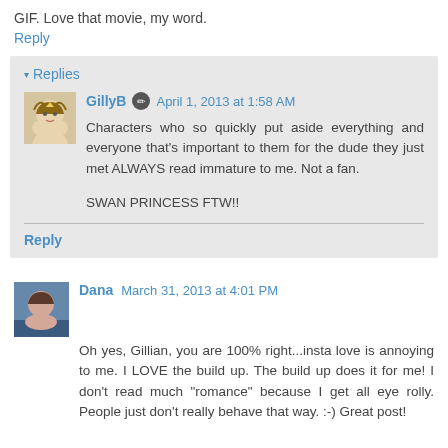GIF. Love that movie, my word.
Reply
▾ Replies
GillyB  April 1, 2013 at 1:58 AM
Characters who so quickly put aside everything and everyone that's important to them for the dude they just met ALWAYS read immature to me. Not a fan.

SWAN PRINCESS FTW!!
Reply
Dana  March 31, 2013 at 4:01 PM
Oh yes, Gillian, you are 100% right...insta love is annoying to me. I LOVE the build up. The build up does it for me! I don't read much "romance" because I get all eye rolly. People just don't really behave that way. :-) Great post!